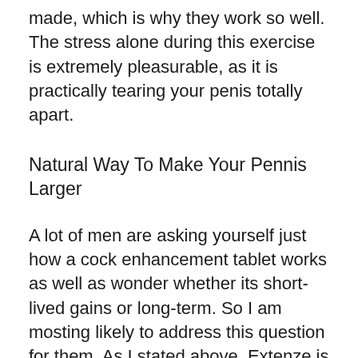made, which is why they work so well. The stress alone during this exercise is extremely pleasurable, as it is practically tearing your penis totally apart.
Natural Way To Make Your Pennis Larger
A lot of men are asking yourself just how a cock enhancement tablet works as well as wonder whether its short-lived gains or long-term. So I am mosting likely to address this question for them. As I stated above, Extenze is a natural tablet and also is made up of several natural components. Some of the extra exotic active ingredients consist of things like Chinese ginseng, and also Japanese goji berries. These interact to boost extra blood circulation, in addition to giving